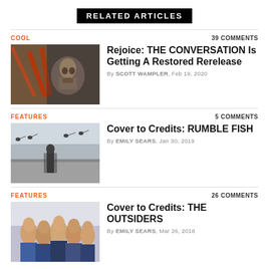RELATED ARTICLES
COOL
39 COMMENTS
[Figure (photo): Movie still from The Conversation showing a man's face near glass with red reflections]
Rejoice: THE CONVERSATION Is Getting A Restored Rerelease
By SCOTT WAMPLER, Feb 19, 2020
FEATURES
5 COMMENTS
[Figure (photo): Black and white photo of a person standing on a shore with birds flying overhead]
Cover to Credits: RUMBLE FISH
By EMILY SEARS, Jan 30, 2019
FEATURES
26 COMMENTS
[Figure (photo): Group photo of young people from The Outsiders movie]
Cover to Credits: THE OUTSIDERS
By EMILY SEARS, Mar 26, 2018